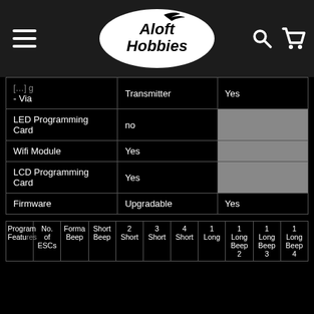Aloft Hobbies
| Feature | Value | Column3 |
| --- | --- | --- |
| [cut off] - Via | Transmitter | Yes |
| LED Programming Card | no |  |
| Wifi Module | Yes |  |
| LCD Programming Card | Yes |  |
| Firmware | Upgradable | Yes |
| Program Features | No. of ESCs | Forma Beep | Short Beep | 2 Short | 3 Short | 4 Short | 1 Long | 1 Long Beep | 1 Long Beep 2 | 1 Long Beep 3 | 1 Long Beep 4 |
| --- | --- | --- | --- | --- | --- | --- | --- | --- | --- | --- | --- |
| (continued below the fold) |  |  |  |  |  |  |  |  |  |  |  |